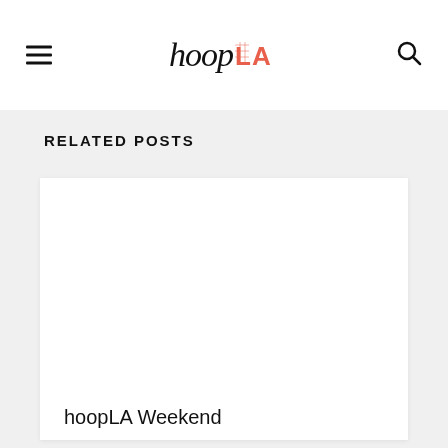hoopLA
RELATED POSTS
[Figure (photo): Blank white card image placeholder for a hoopLA Weekend post]
hoopLA Weekend